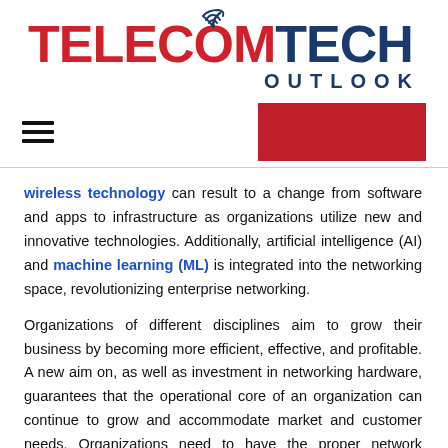[Figure (logo): Telecom Tech Outlook logo with red TELECOM text, dark blue TECH OUTLOOK text, and wifi signal icon above the O]
Navigation bar with hamburger menu icon and red button
wireless technology can result to a change from software and apps to infrastructure as organizations utilize new and innovative technologies. Additionally, artificial intelligence (AI) and machine learning (ML) is integrated into the networking space, revolutionizing enterprise networking.

Organizations of different disciplines aim to grow their business by becoming more efficient, effective, and profitable. A new aim on, as well as investment in networking hardware, guarantees that the operational core of an organization can continue to grow and accommodate market and customer needs. Organizations need to have the proper network infrastructure to have a completely autonomous self-driving network that automates daily, tedious tasks and enhances end-users and